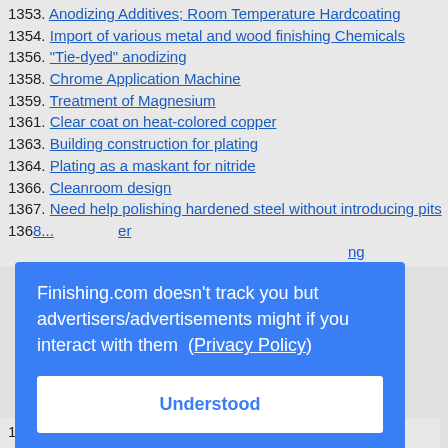1353. Anodizing Additives; Room Temperature Hardcoating
1354. Import of various metal and wood finishing Chemicals
1356. "Tie-dyed" anodizing
1358. Chrome Application Machine
1359. Treatment of Magnesium
1361. Clear coat on heat-colored copper
1363. Building construction for plating
1364. Plating as a maskant for nitride
1366. Cleanroom design
1367. Need help polishing hardened steel without introducing pits
Finishing.com doesn't track you but advertisers/advertisements might if you interact with them (Privacy Policy)
Understood
1384. Help choosing Anodize Coating for Marine